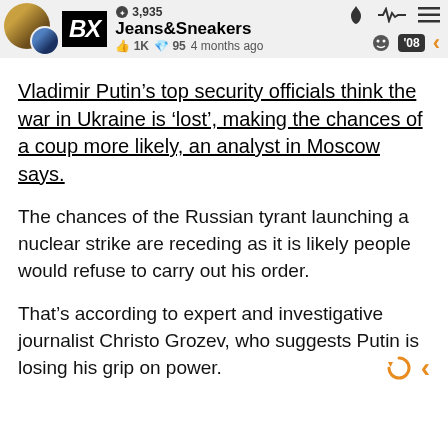BX | 3,935 | Jeans&Sneakers | 1K | 95 | 4 months ago | '08
Vladimir Putin’s top security officials think the war in Ukraine is ‘lost’, making the chances of a coup more likely, an analyst in Moscow says.
The chances of the Russian tyrant launching a nuclear strike are receding as it is likely people would refuse to carry out his order.
That’s according to expert and investigative journalist Christo Grozev, who suggests Putin is losing his grip on power.